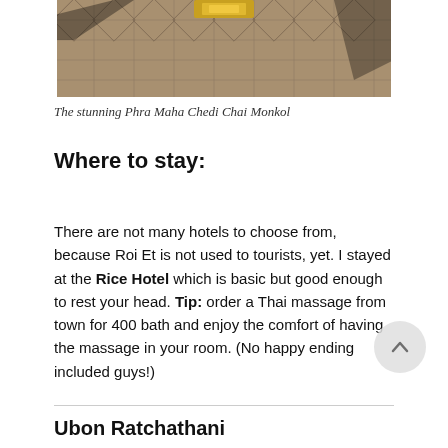[Figure (photo): Aerial/ground view of ornate patterned temple floor with shadows and a golden structure in the background - the stunning Phra Maha Chedi Chai Monkol]
The stunning Phra Maha Chedi Chai Monkol
Where to stay:
There are not many hotels to choose from, because Roi Et is not used to tourists, yet. I stayed at the Rice Hotel which is basic but good enough to rest your head. Tip: order a Thai massage from town for 400 bath and enjoy the comfort of having the massage in your room. (No happy ending included guys!)
Ubon Ratchathani